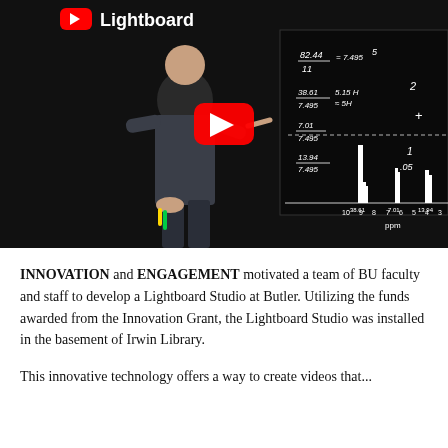[Figure (screenshot): YouTube video thumbnail showing a person in a dark shirt standing in front of a Lightboard (transparent illuminated board) with NMR spectrum data written on it. The YouTube play button is visible in the center. Text 'Lightboard' appears in the top-left corner. The NMR spectrum shows peaks at 38.61, 7.01, and 13.94 ppm.]
INNOVATION and ENGAGEMENT motivated a team of BU faculty and staff to develop a Lightboard Studio at Butler. Utilizing the funds awarded from the Innovation Grant, the Lightboard Studio was installed in the basement of Irwin Library.
This innovative technology offers a way to create videos that...